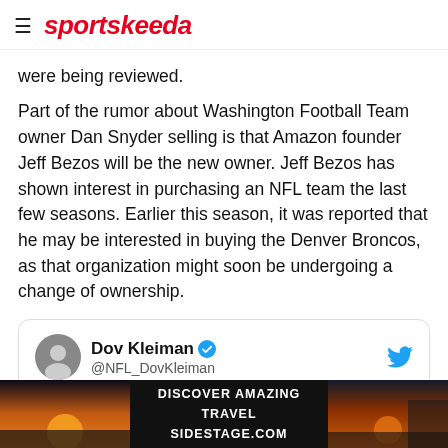sportskeeda
were being reviewed.
Part of the rumor about Washington Football Team owner Dan Snyder selling is that Amazon founder Jeff Bezos will be the new owner. Jeff Bezos has shown interest in purchasing an NFL team the last few seasons. Earlier this season, it was reported that he may be interested in buying the Denver Broncos, as that organization might soon be undergoing a change of ownership.
[Figure (screenshot): Embedded tweet from @NFL_DovKleiman (Dov Kleiman) with verified badge and Twitter logo. Tweet text: Derek Carr tells FOX that he wants people to forgive Jon Gruden.]
[Figure (photo): Advertisement banner: DISCOVER AMAZING TRAVEL SIDESTAGE.COM with sunset/landscape images on left and right sides.]